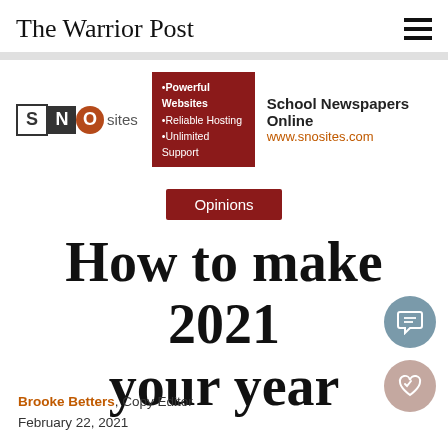The Warrior Post
[Figure (logo): SNO Sites advertisement banner with logo and features: Powerful Websites, Reliable Hosting, Unlimited Support. School Newspapers Online, www.snosites.com]
Opinions
How to make 2021 your year
Brooke Betters, Copy Editor
February 22, 2021